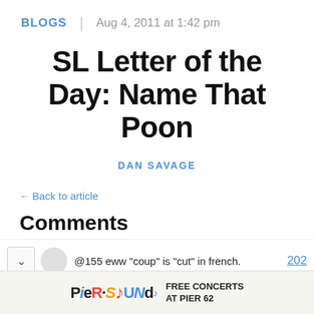BLOGS | Aug 4, 2011 at 1:42 pm
SL Letter of the Day: Name That Poon
DAN SAVAGE
← Back to article
Comments
@155 eww "coup" is "cut" in french.
[Figure (other): Pier Sounds advertisement banner: colorful logo reading PIER SOUNDS with text FREE CONCERTS AT PIER 62]